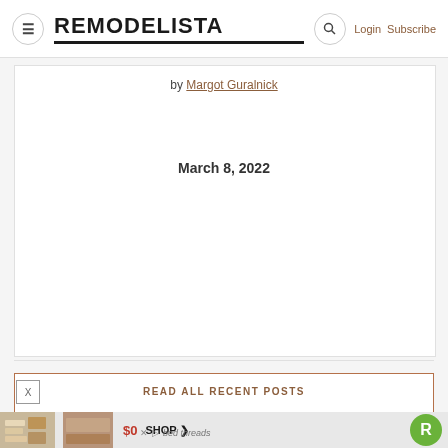REMODELISTA | Login | Subscribe
by Margot Guralnick
March 8, 2022
READ ALL RECENT POSTS
[Figure (screenshot): Advertisement banner showing bed linen products with $0 price and SHOP button, with Remodelista R logo]
[Figure (photo): Two product thumbnail images showing folded linens and textiles]